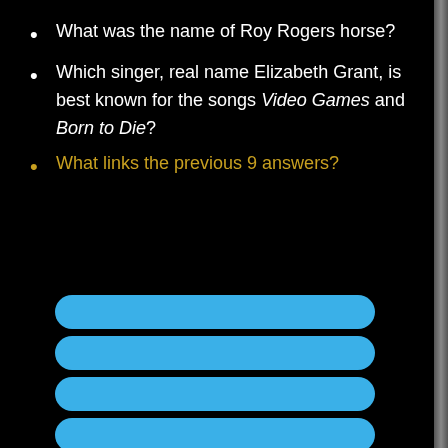What was the name of Roy Rogers horse?
Which singer, real name Elizabeth Grant, is best known for the songs Video Games and Born to Die?
What links the previous 9 answers?
[Figure (other): Eight blue rounded-rectangle answer bars stacked vertically, partially visible at bottom of page]